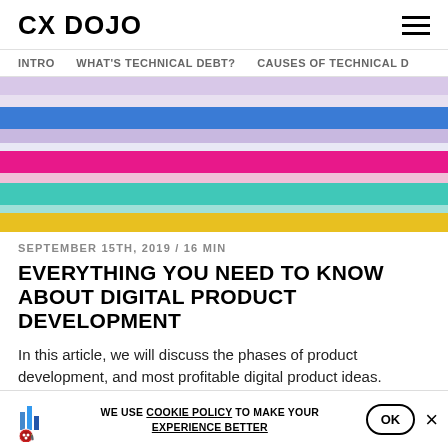CX DOJO
INTRO   WHAT'S TECHNICAL DEBT?   CAUSES OF TECHNICAL D
[Figure (illustration): Abstract colorful stripes in blue, pink/magenta, teal/cyan, yellow, lavender and white with two dark purple 3D spheres resting on the stripes]
SEPTEMBER 15TH, 2019 / 16 MIN
EVERYTHING YOU NEED TO KNOW ABOUT DIGITAL PRODUCT DEVELOPMENT
In this article, we will discuss the phases of product development, and most profitable digital product ideas.
READ
WE USE COOKIE POLICY TO MAKE YOUR EXPERIENCE BETTER